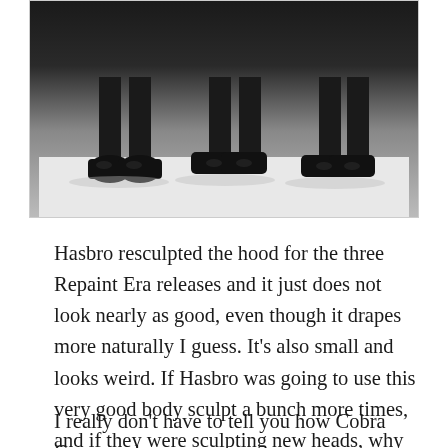[Figure (photo): Bottom portion of action figures showing legs and feet/boots in black, standing on a white surface]
Hasbro resculpted the hood for the three Repaint Era releases and it just does not look nearly as good, even though it drapes more naturally I guess. It’s also small and looks weird. If Hasbro was going to use this very good body sculpt a bunch more times, and if they were sculpting new heads, why didn’t they do one with a battle helmet to recreate CC’s most enduring look? I’ll never understand the decisions they made throughout the 00s.
I really don’t have to tell you how Cobra Commander